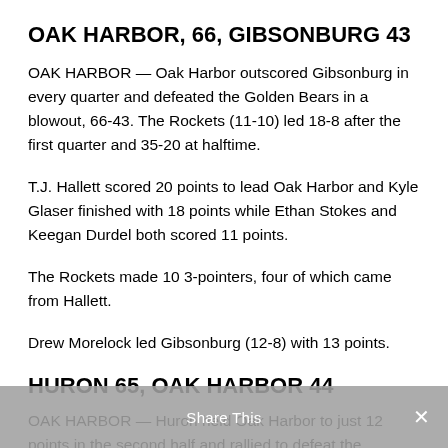OAK HARBOR, 66, GIBSONBURG 43
OAK HARBOR — Oak Harbor outscored Gibsonburg in every quarter and defeated the Golden Bears in a blowout, 66-43. The Rockets (11-10) led 18-8 after the first quarter and 35-20 at halftime.
T.J. Hallett scored 20 points to lead Oak Harbor and Kyle Glaser finished with 18 points while Ethan Stokes and Keegan Durdel both scored 11 points.
The Rockets made 10 3-pointers, four of which came from Hallett.
Drew Morelock led Gibsonburg (12-8) with 13 points.
HURON 65, OAK HARBOR 44
OAK HARBOR — Huron held Oak Harbor to just 12 points in the second half and rallied to defeat the Rockets, 65-44. The